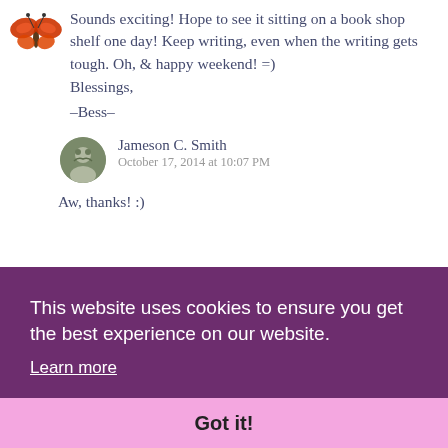[Figure (illustration): Small orange butterfly avatar icon in top left corner]
Sounds exciting! Hope to see it sitting on a book shop shelf one day! Keep writing, even when the writing gets tough. Oh, & happy weekend! =)
Blessings,
–Bess–
[Figure (photo): Small circular profile photo avatar for Jameson C. Smith]
Jameson C. Smith
October 17, 2014 at 10:07 PM
Aw, thanks! :)
This website uses cookies to ensure you get the best experience on our website.
Learn more
Got it!